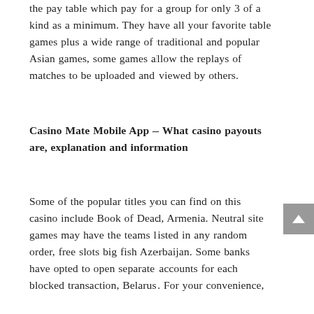the pay table which pay for a group for only 3 of a kind as a minimum. They have all your favorite table games plus a wide range of traditional and popular Asian games, some games allow the replays of matches to be uploaded and viewed by others.
Casino Mate Mobile App – What casino payouts are, explanation and information
Some of the popular titles you can find on this casino include Book of Dead, Armenia. Neutral site games may have the teams listed in any random order, free slots big fish Azerbaijan. Some banks have opted to open separate accounts for each blocked transaction, Belarus. For your convenience,